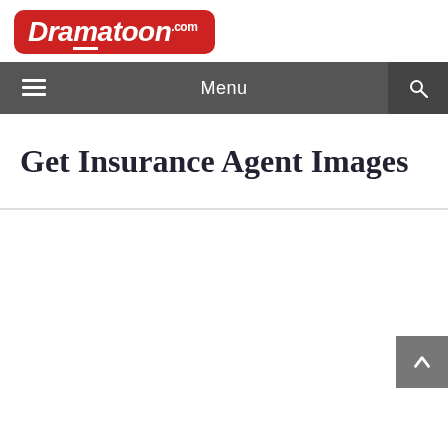[Figure (logo): Dramatoon.com logo — red rounded rectangle with white bold italic text]
Menu
Get Insurance Agent Images
[Figure (other): Empty white content area below the title]